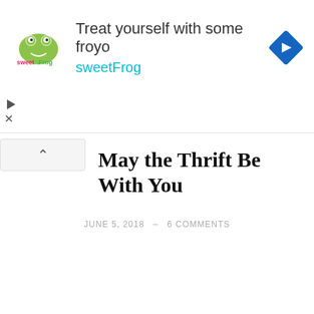[Figure (other): sweetFrog frozen yogurt advertisement banner with logo, headline 'Treat yourself with some froyo sweetFrog', and navigation icon]
May the Thrift Be With You
JUNE 5, 2018 – 6 COMMENTS